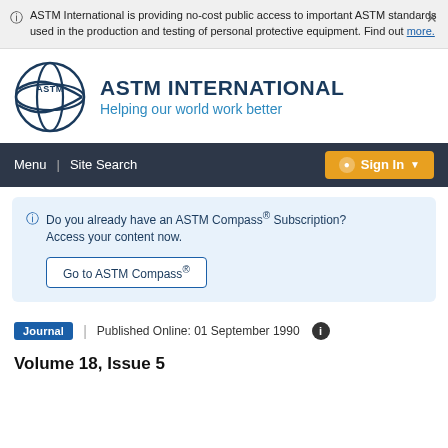ASTM International is providing no-cost public access to important ASTM standards used in the production and testing of personal protective equipment. Find out more.
[Figure (logo): ASTM International logo — circular gear-like emblem with ASTM text inside, dark navy blue]
ASTM INTERNATIONAL
Helping our world work better
Menu | Site Search  Sign In
Do you already have an ASTM Compass® Subscription? Access your content now.
Go to ASTM Compass®
Journal  |  Published Online: 01 September 1990
Volume 18, Issue 5